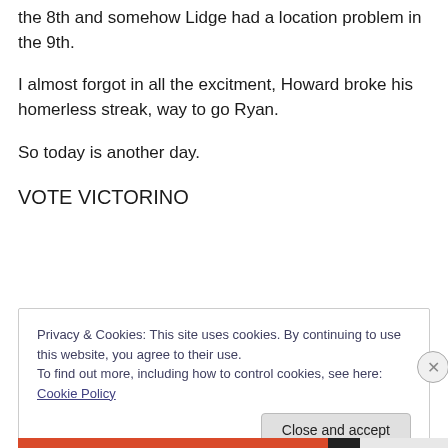the 8th and somehow Lidge had a location problem in the 9th.
I almost forgot in all the excitment, Howard broke his homerless streak, way to go Ryan.
So today is another day.
VOTE VICTORINO
Privacy & Cookies: This site uses cookies. By continuing to use this website, you agree to their use.
To find out more, including how to control cookies, see here: Cookie Policy
Close and accept